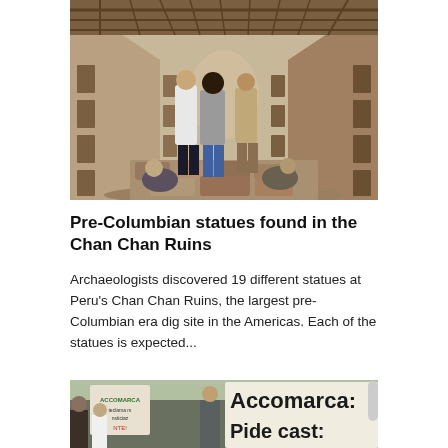[Figure (photo): People walking through a narrow adobe corridor at the Chan Chan ruins archaeological site in Peru. Sepia-toned photograph showing tourists or archaeologists in a passageway with niched mud brick walls.]
Pre-Columbian statues found in the Chan Chan Ruins
Archaeologists discovered 19 different statues at Peru's Chan Chan Ruins, the largest pre-Columbian era dig site in the Americas. Each of the statues is expected...
[Figure (photo): Protesters holding signs including a large sign reading 'Accomarca: Pide cast:' partially visible. A crowd of people holding protest banners at what appears to be a political demonstration.]